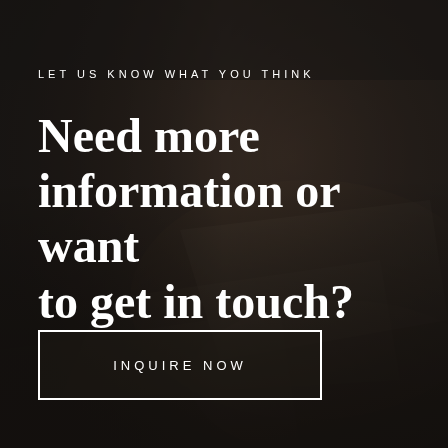[Figure (photo): Dark background photo of people writing/taking notes on paper, with a dark semi-transparent overlay giving a moody, muted appearance.]
LET US KNOW WHAT YOU THINK
Need more information or want to get in touch?
INQUIRE NOW